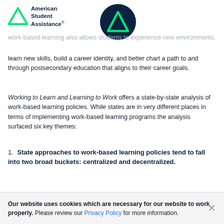[Figure (logo): American Student Assistance logo with green triangle and text, plus dark navy circle logo with green triangle]
work-based learning also allows students to experience new environments, learn new skills, build a career identity, and better chart a path to and through postsecondary education that aligns to their career goals.
Working to Learn and Learning to Work offers a state-by-state analysis of work-based learning policies. While states are in very different places in terms of implementing work-based learning programs the analysis surfaced six key themes:
1. State approaches to work-based learning policies tend to fall into two broad buckets: centralized and decentralized.
2. A majority of states have broad eligibility requirements for participation in work-based
Our website uses cookies which are necessary for our website to work properly. Please review our Privacy Policy for more information.